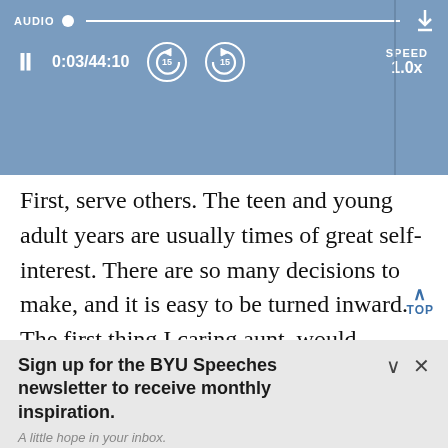AUDIO  0:03/44:10  SPEED 1.0x
First, serve others. The teen and young adult years are usually times of great self-interest. There are so many decisions to make, and it is easy to be turned inward. The first thing I caring aunt, would encourage you to do is
Sign up for the BYU Speeches newsletter to receive monthly inspiration.
A little hope in your inbox.
Enter your email  SUBSCRIBE